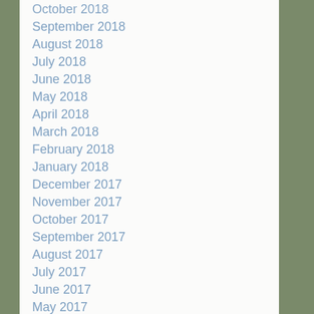October 2018
September 2018
August 2018
July 2018
June 2018
May 2018
April 2018
March 2018
February 2018
January 2018
December 2017
November 2017
October 2017
September 2017
August 2017
July 2017
June 2017
May 2017